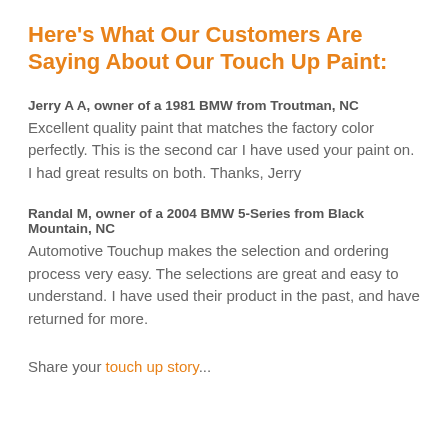Here's What Our Customers Are Saying About Our Touch Up Paint:
Jerry A A, owner of a 1981 BMW from Troutman, NC
Excellent quality paint that matches the factory color perfectly. This is the second car I have used your paint on. I had great results on both. Thanks, Jerry
Randal M, owner of a 2004 BMW 5-Series from Black Mountain, NC
Automotive Touchup makes the selection and ordering process very easy. The selections are great and easy to understand. I have used their product in the past, and have returned for more.
Share your touch up story...